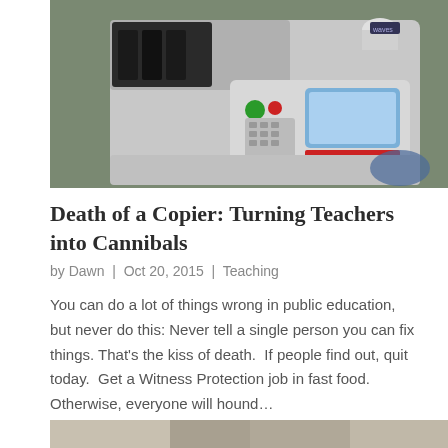[Figure (photo): Overhead view of a large office photocopier/multifunction printer with keypad, green start button, blue screen display, and paper tray, on a green tiled floor.]
Death of a Copier: Turning Teachers into Cannibals
by Dawn | Oct 20, 2015 | Teaching
You can do a lot of things wrong in public education, but never do this: Never tell a single person you can fix things. That's the kiss of death.  If people find out, quit today.  Get a Witness Protection job in fast food.  Otherwise, everyone will hound…
[Figure (photo): Partial view of another image at the bottom of the page, cropped.]